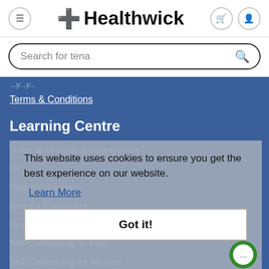Healthwick
Search for tena
Terms & Conditions
Learning Centre
Guide to Managing Incontinence
Ho...
Help for Nurses
Help for Caregivers
How to Put On an Adult Diaper
Self-Cathetering for Men
Self-Cathetering for Women
This website uses cookies to ensure you get the best experience on our website.
Learn More
Got it!